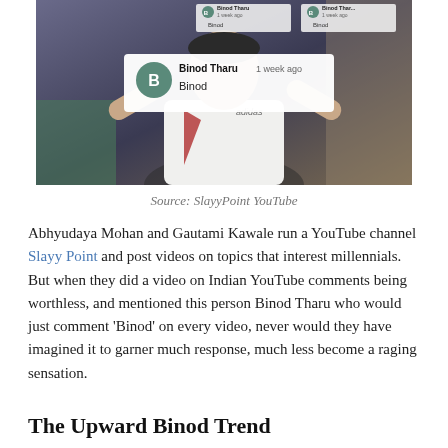[Figure (screenshot): Screenshot from SlayyPoint YouTube video showing a person in an Adidas t-shirt with YouTube comment overlays showing 'Binod Tharu 1 week ago' and comment text 'Binod'. Multiple such comment bubbles visible including a large central one with a teal avatar letter B.]
Source: SlayyPoint YouTube
Abhyudaya Mohan and Gautami Kawale run a YouTube channel Slayy Point and post videos on topics that interest millennials. But when they did a video on Indian YouTube comments being worthless, and mentioned this person Binod Tharu who would just comment 'Binod' on every video, never would they have imagined it to garner much response, much less become a raging sensation.
The Upward Binod Trend